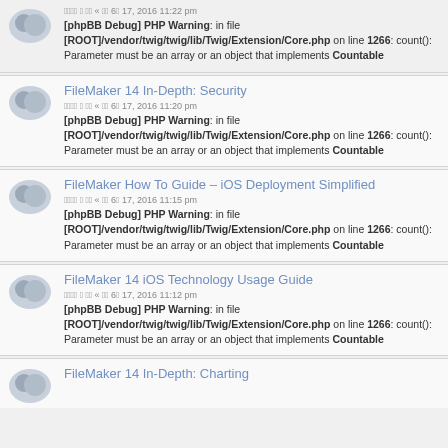[phpBB Debug] PHP Warning: in file [ROOT]/vendor/twig/twig/lib/Twig/Extension/Core.php on line 1266: count(): Parameter must be an array or an object that implements Countable
FileMaker 14 In-Depth: Security
[phpBB Debug] PHP Warning: in file [ROOT]/vendor/twig/twig/lib/Twig/Extension/Core.php on line 1266: count(): Parameter must be an array or an object that implements Countable
FileMaker How To Guide – iOS Deployment Simplified
[phpBB Debug] PHP Warning: in file [ROOT]/vendor/twig/twig/lib/Twig/Extension/Core.php on line 1266: count(): Parameter must be an array or an object that implements Countable
FileMaker 14 iOS Technology Usage Guide
[phpBB Debug] PHP Warning: in file [ROOT]/vendor/twig/twig/lib/Twig/Extension/Core.php on line 1266: count(): Parameter must be an array or an object that implements Countable
FileMaker 14 In-Depth: Charting